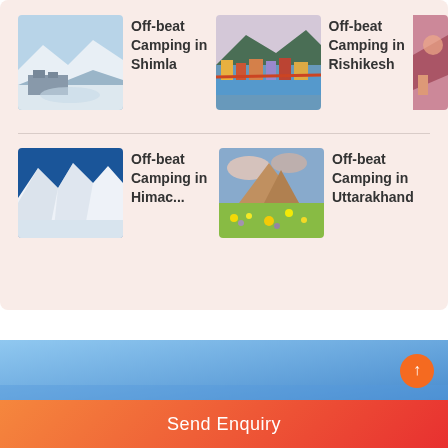[Figure (photo): Snowy winter landscape with frozen lake and buildings in Shimla]
Off-beat Camping in Shimla
[Figure (photo): Aerial view of Rishikesh with river and colorful buildings]
Off-beat Camping in Rishikesh
[Figure (photo): Partial photo partially cut off on right side]
[Figure (photo): Snow-capped mountains under clear blue sky in Himachal Pradesh]
Off-beat Camping in Himac...
[Figure (photo): Green mountain meadow with wildflowers in Uttarakhand]
Off-beat Camping in Uttarakhand
Send Enquiry